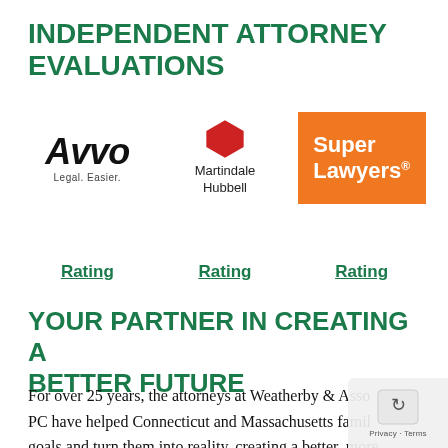INDEPENDENT ATTORNEY EVALUATIONS
[Figure (logo): Avvo logo with text 'Legal. Easier.']
[Figure (logo): Martindale Hubbell logo with red diamond shape]
[Figure (logo): Super Lawyers logo on orange background]
Rating
Rating
Rating
YOUR PARTNER IN CREATING A BETTER FUTURE
For over 25 years, the attorneys at Weatherby & Associates, PC have helped Connecticut and Massachusetts famil… goals and turn them into reality, creating a better, more secure